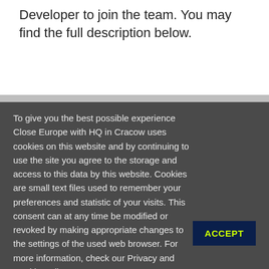Developer to join the team. You may find the full description below.
To give you the best possible experience Close Europe with HQ in Cracow uses cookies on this website and by continuing to use the site you agree to the storage and access to this data by this website. Cookies are small text files used to remember your preferences and statistic of your visits. This consent can at any time be modified or revoked by making appropriate changes to the settings of the used web browser. For more information, check our Privacy and Cookie Policy